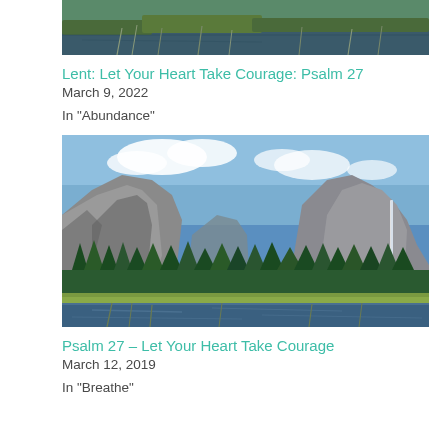[Figure (photo): Partial landscape photo showing water and vegetation, cropped at top of page]
Lent: Let Your Heart Take Courage: Psalm 27
March 9, 2022
In "Abundance"
[Figure (photo): Yosemite Valley landscape with granite cliffs, El Capitan, pine trees, open meadow, and a river or lake in the foreground under blue sky with clouds]
Psalm 27 – Let Your Heart Take Courage
March 12, 2019
In "Breathe"